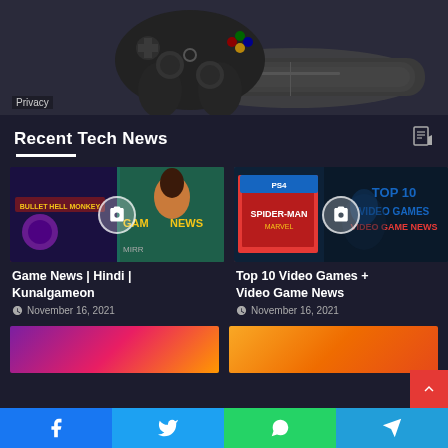[Figure (photo): PlayStation 3 console and controller on dark background with Privacy label]
Recent Tech News
[Figure (screenshot): Game News | Hindi | Kunalgameon video thumbnail with camera icon overlay]
Game News | Hindi | Kunalgameon
November 16, 2021
[Figure (screenshot): Top 10 Video Games + Video Game News thumbnail with Spider-Man and camera icon overlay]
Top 10 Video Games + Video Game News
November 16, 2021
[Figure (photo): Partial thumbnail bottom left - colorful characters]
[Figure (photo): Partial thumbnail bottom right - orange/yellow tones]
Facebook | Twitter | WhatsApp | Telegram social share buttons